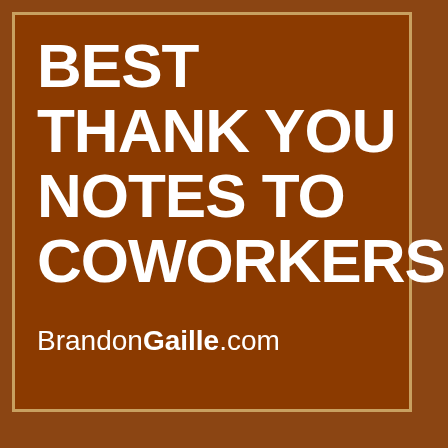BEST THANK YOU NOTES TO COWORKERS
BrandonGaille.com